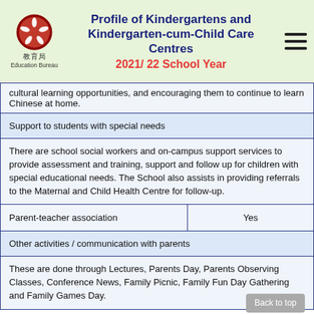Profile of Kindergartens and Kindergarten-cum-Child Care Centres 2021/22 School Year
cultural learning opportunities, and encouraging them to continue to learn Chinese at home.
| Support to students with special needs |
| There are school social workers and on-campus support services to provide assessment and training, support and follow up for children with special educational needs. The School also assists in providing referrals to the Maternal and Child Health Centre for follow-up. |
| Parent-teacher association | Yes |
| Other activities / communication with parents |
| These are done through Lectures, Parents Day, Parents Observing Classes, Conference News, Family Picnic, Family Fun Day Gathering and Family Games Day. |